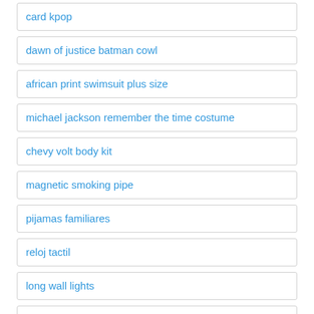card kpop
dawn of justice batman cowl
african print swimsuit plus size
michael jackson remember the time costume
chevy volt body kit
magnetic smoking pipe
pijamas familiares
reloj tactil
long wall lights
glass wedding shoes
akaashi keiji cosplay
ropa para gym hombre